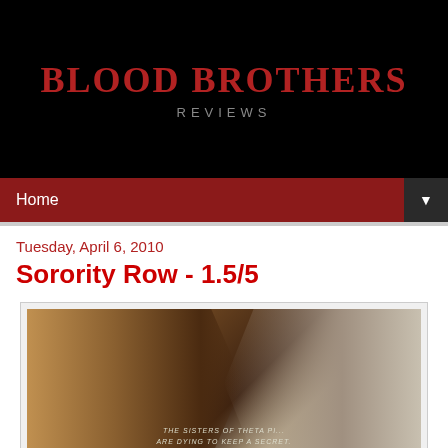BLOOD BROTHERS REVIEWS
Home
Tuesday, April 6, 2010
Sorority Row - 1.5/5
[Figure (photo): Movie poster for Sorority Row showing two women in distress with text 'THE SISTERS OF THETA PI... ARE DYING TO KEEP A SECRET.']